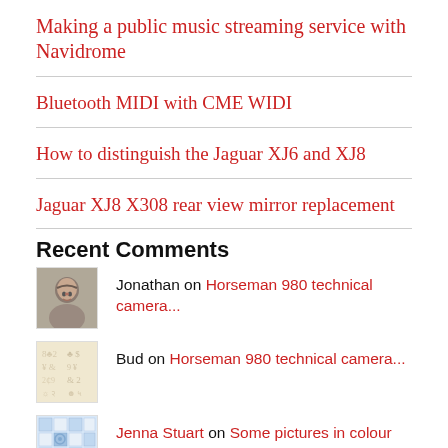Making a public music streaming service with Navidrome
Bluetooth MIDI with CME WIDI
How to distinguish the Jaguar XJ6 and XJ8
Jaguar XJ8 X308 rear view mirror replacement
Recent Comments
Jonathan on Horseman 980 technical camera...
Bud on Horseman 980 technical camera...
Jenna Stuart on Some pictures in colour
Franklin on Testing the Canon FD 35-105mm...